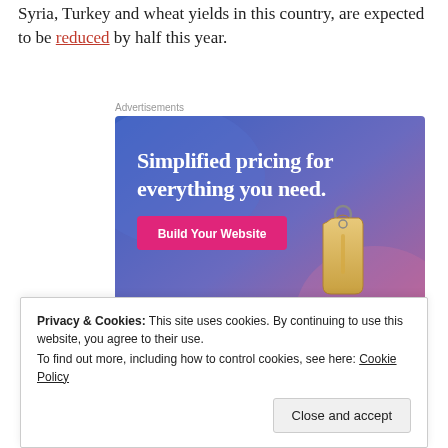Syria, Turkey and wheat yields in this country, are expected to be reduced by half this year.
Advertisements
[Figure (screenshot): Advertisement banner with blue-to-purple gradient background. Text: 'Simplified pricing for everything you need.' with a pink 'Build Your Website' button and a price tag graphic on the right. Wix logo at bottom.]
Privacy & Cookies: This site uses cookies. By continuing to use this website, you agree to their use.
To find out more, including how to control cookies, see here: Cookie Policy
Close and accept